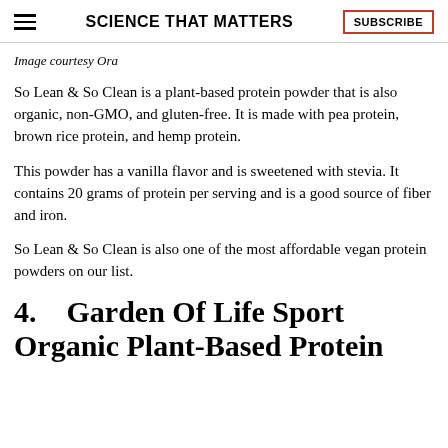SCIENCE THAT MATTERS | SUBSCRIBE
Image courtesy Ora
So Lean & So Clean is a plant-based protein powder that is also organic, non-GMO, and gluten-free. It is made with pea protein, brown rice protein, and hemp protein.
This powder has a vanilla flavor and is sweetened with stevia. It contains 20 grams of protein per serving and is a good source of fiber and iron.
So Lean & So Clean is also one of the most affordable vegan protein powders on our list.
4.    Garden Of Life Sport Organic Plant-Based Protein